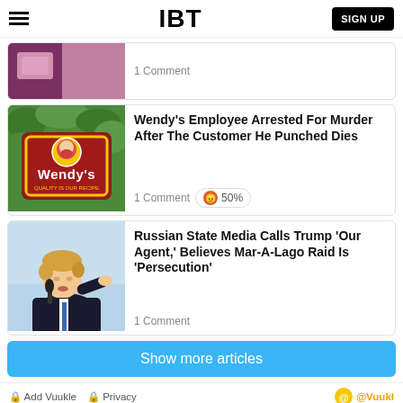IBT | SIGN UP
[Figure (photo): Partial article card with image (purple/pink toned) showing 1 Comment]
1 Comment
[Figure (photo): Wendy's restaurant sign with red background and Wendy's logo]
Wendy's Employee Arrested For Murder After The Customer He Punched Dies
1 Comment  😠 50%
[Figure (photo): Donald Trump speaking at a microphone, pointing finger, wearing dark suit]
Russian State Media Calls Trump 'Our Agent,' Believes Mar-A-Lago Raid Is 'Persecution'
1 Comment
Show more articles
Add Vuukle  Privacy  @Vuukl